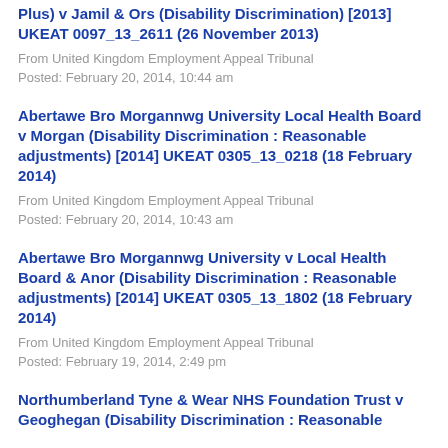Plus) v Jamil & Ors (Disability Discrimination) [2013] UKEAT 0097_13_2611 (26 November 2013)
From United Kingdom Employment Appeal Tribunal
Posted: February 20, 2014, 10:44 am
Abertawe Bro Morgannwg University Local Health Board v Morgan (Disability Discrimination : Reasonable adjustments) [2014] UKEAT 0305_13_0218 (18 February 2014)
From United Kingdom Employment Appeal Tribunal
Posted: February 20, 2014, 10:43 am
Abertawe Bro Morgannwg University v Local Health Board & Anor (Disability Discrimination : Reasonable adjustments) [2014] UKEAT 0305_13_1802 (18 February 2014)
From United Kingdom Employment Appeal Tribunal
Posted: February 19, 2014, 2:49 pm
Northumberland Tyne & Wear NHS Foundation Trust v Geoghegan (Disability Discrimination : Reasonable adjustments) [...]